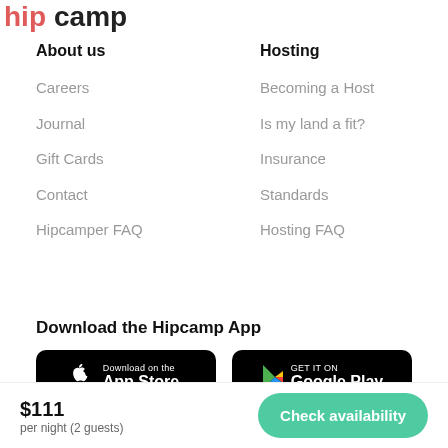[Figure (logo): Hipcamp logo partially visible at top]
About us
Careers
Journal
Gift Cards
Contact
Hipcamper FAQ
Hosting
Becoming a Host
Is my land a fit?
Insurance
Standards
Hosting FAQ
Download the Hipcamp App
[Figure (screenshot): App Store and Google Play download buttons]
$111 per night (2 guests)
Check availability